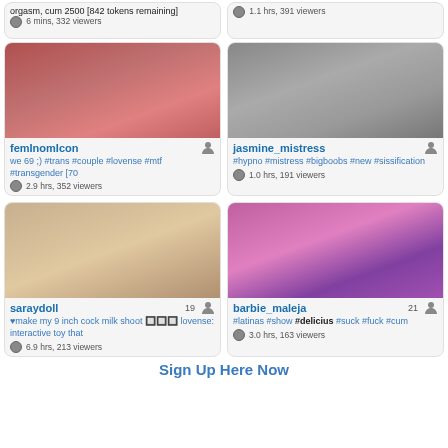orgasm, cum 2500 [842 tokens remaining]
6 mins, 332 viewers
1.1 hrs, 391 viewers
[Figure (photo): Webcam thumbnail of femInomIcon]
[Figure (photo): Webcam thumbnail of jasmine_mistress]
femInomIcon
we 69 ;) #trans #couple #lovense #mtf #transgender [70
2.9 hrs, 352 viewers
jasmine_mistress
#hypno #mistress #bigboobs #new #sissification
1.0 hrs, 191 viewers
[Figure (photo): Webcam thumbnail of saraydoll]
[Figure (photo): Webcam thumbnail of barbie_maleja]
saraydoll  19
♥make my 9 inch cock milk shoot 🔲🔲🔲 lovense: interactive toy that
6.9 hrs, 213 viewers
barbie_maleja  21
#latinas #show #delicius #suck #fuck #cum
3.0 hrs, 163 viewers
Sign Up Here Now